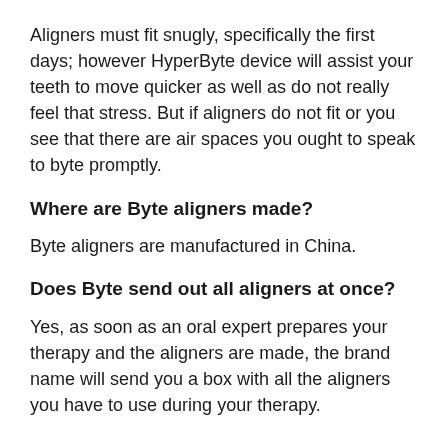Aligners must fit snugly, specifically the first days; however HyperByte device will assist your teeth to move quicker as well as do not really feel that stress. But if aligners do not fit or you see that there are air spaces you ought to speak to byte promptly.
Where are Byte aligners made?
Byte aligners are manufactured in China.
Does Byte send out all aligners at once?
Yes, as soon as an oral expert prepares your therapy and the aligners are made, the brand name will send you a box with all the aligners you have to use during your therapy.